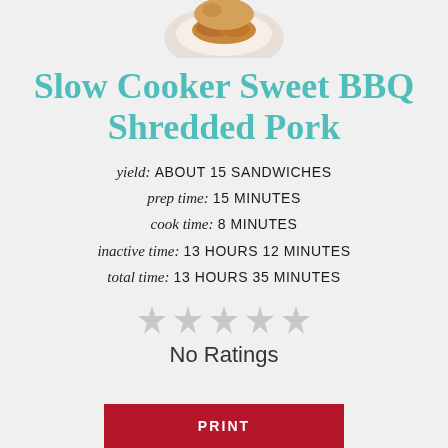[Figure (photo): Partial photo of a pulled pork sandwich on a white plate, cropped at top]
Slow Cooker Sweet BBQ Shredded Pork
yield: ABOUT 15 SANDWICHES
prep time: 15 MINUTES
cook time: 8 MINUTES
inactive time: 13 HOURS 12 MINUTES
total time: 13 HOURS 35 MINUTES
[Figure (other): Five grey/light star rating icons indicating no ratings]
No Ratings
PRINT